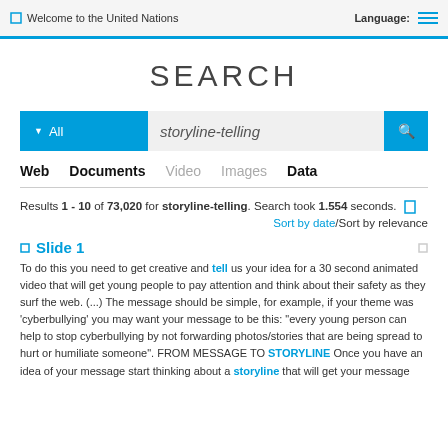Welcome to the United Nations  Language:
SEARCH
All  storyline-telling
Web  Documents  Video  Images  Data
Results 1 - 10 of 73,020 for storyline-telling. Search took 1.554 seconds.
Sort by date/Sort by relevance
Slide 1
To do this you need to get creative and tell us your idea for a 30 second animated video that will get young people to pay attention and think about their safety as they surf the web. (...) The message should be simple, for example, if your theme was 'cyberbullying' you may want your message to be this: "every young person can help to stop cyberbullying by not forwarding photos/stories that are being spread to hurt or humiliate someone". FROM MESSAGE TO STORYLINE Once you have an idea of your message start thinking about a storyline that will get your message